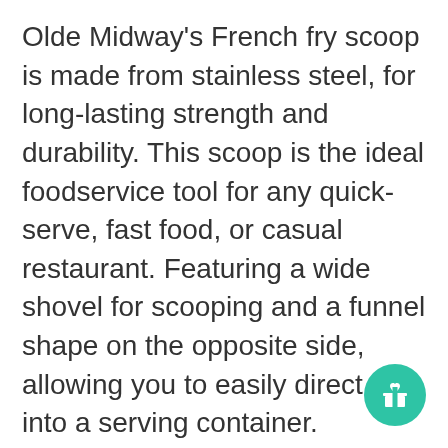Olde Midway's French fry scoop is made from stainless steel, for long-lasting strength and durability. This scoop is the ideal foodservice tool for any quick-serve, fast food, or casual restaurant. Featuring a wide shovel for scooping and a funnel shape on the opposite side, allowing you to easily direct fries into a serving container. Ergonomically designed with a removable, angled handle for right-handed users. This multi-purpose scoop is an essential foodservice tool for concession stands, movie theaters, festivals, restaurants, and candy stores. Designed to easily serve, box or bag treats in seconds and can also be used to serve popcorn, nuts, ice, or candy. Dimensions: 9-1/2" L x 8-1/2" W x 2-1/2" H Care: Easy to clean. Dishwasher Safe. Midway offers high-quality concession stand